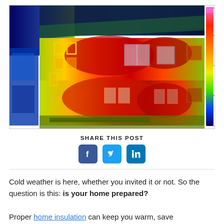[Figure (photo): Thermal infrared image of a residential building facade showing heat loss through windows and walls. Color scale from blue (cold) to red/yellow/green (hot) with a vertical color bar on the right side.]
SHARE THIS POST
[Figure (infographic): Three social media share buttons: Facebook (blue f icon), Twitter (blue bird icon), LinkedIn (blue 'in' icon)]
Cold weather is here, whether you invited it or not. So the question is this: is your home prepared?

Proper home insulation can keep you warm, save